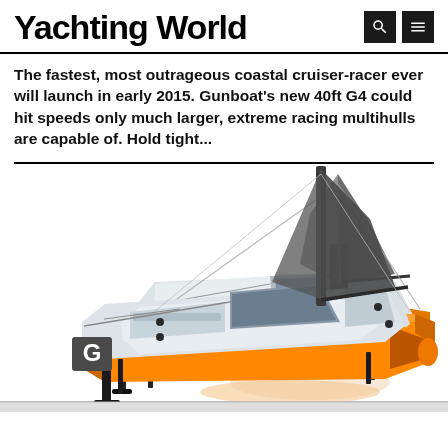Yachting World
The fastest, most outrageous coastal cruiser-racer ever will launch in early 2015. Gunboat’s new 40ft G4 could hit speeds only much larger, extreme racing multihulls are capable of. Hold tight...
[Figure (illustration): 3D render of the Gunboat G4 catamaran in orange and white, viewed from above and slightly to the side, showing the trampoline deck, cockpit, mast, and foils. The hull has a large 'G' logo on the left side and a '4' on the right stern.]